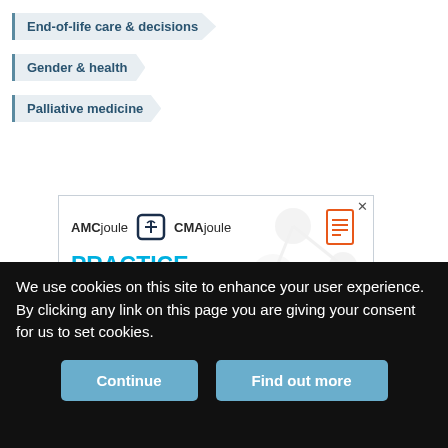End-of-life care & decisions
Gender & health
Palliative medicine
[Figure (screenshot): AMCjoule CMAjoule advertisement for Practice Management Curriculum. Text: 'PRACTICE MANAGEMENT CURRICULUM – Complete residency with skills to succeed in practice – TAKE A FREE SESSION'. Orange icons of document, DNA, microscope on right side.]
We use cookies on this site to enhance your user experience. By clicking any link on this page you are giving your consent for us to set cookies.